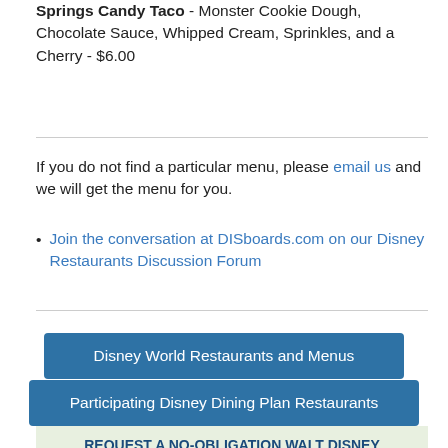Springs Candy Taco - Monster Cookie Dough, Chocolate Sauce, Whipped Cream, Sprinkles, and a Cherry - $6.00
If you do not find a particular menu, please email us and we will get the menu for you.
Join the conversation at DISboards.com on our Disney Restaurants Discussion Forum
Disney World Restaurants and Menus
Participating Disney Dining Plan Restaurants
REQUEST A NO-OBLIGATION WALT DISNEY WORLD VACATION QUOTE